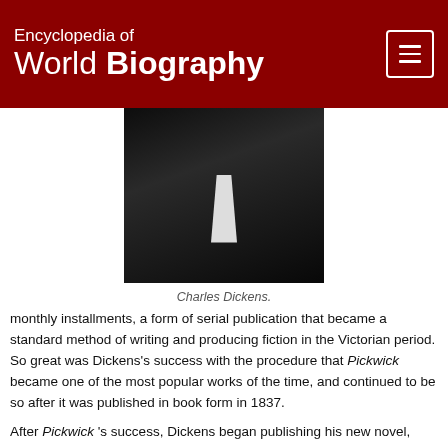Encyclopedia of World Biography
[Figure (photo): Black and white photograph of Charles Dickens]
Charles Dickens.
monthly installments, a form of serial publication that became a standard method of writing and producing fiction in the Victorian period. So great was Dickens's success with the procedure that Pickwick became one of the most popular works of the time, and continued to be so after it was published in book form in 1837.
After Pickwick 's success, Dickens began publishing his new novel, Oliver Twist. He was also now editor of Bentley's Miscellany, a new monthly magazine. He continued publishing his novel in his later magazines, Household Worlds and All the Year Round. Oliver Twist expressed Dickens's interest in